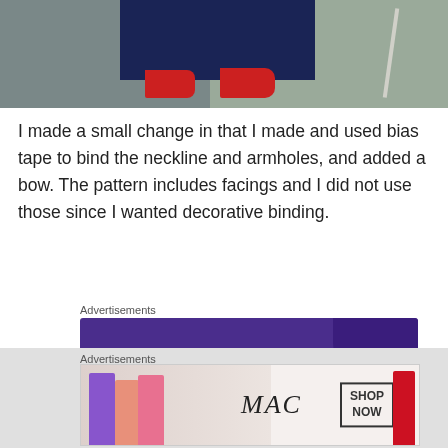[Figure (photo): Photo of feet wearing red shoes with dark navy wide-leg trousers, standing on stone pavement]
I made a small change in that I made and used bias tape to bind the neckline and armholes, and added a bow. The pattern includes facings and I did not use those since I wanted decorative binding.
Advertisements
[Figure (logo): WooCommerce advertisement banner with purple background and teal accent]
Advertisements
[Figure (photo): MAC Cosmetics advertisement showing lipsticks and MAC logo with SHOP NOW button]